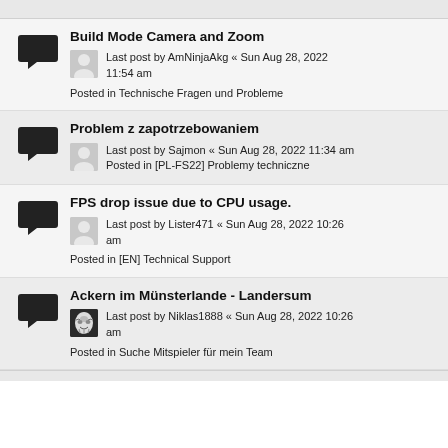Build Mode Camera and Zoom — Last post by AmNinjaAkg « Sun Aug 28, 2022 11:54 am — Posted in Technische Fragen und Probleme
Problem z zapotrzebowaniem — Last post by Sajmon « Sun Aug 28, 2022 11:34 am — Posted in [PL-FS22] Problemy techniczne
FPS drop issue due to CPU usage. — Last post by Lister471 « Sun Aug 28, 2022 10:26 am — Posted in [EN] Technical Support
Ackern im Münsterlande - Landersum — Last post by Niklas1888 « Sun Aug 28, 2022 10:26 am — Posted in Suche Mitspieler für mein Team